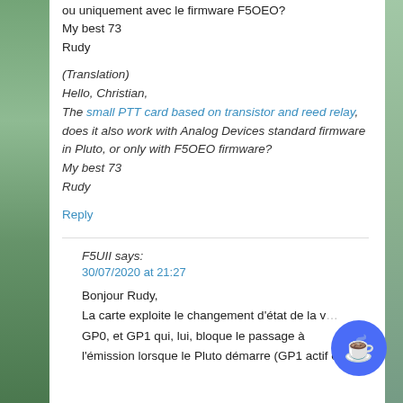ou uniquement avec le firmware F5OEO?
My best 73
Rudy
(Translation)
Hello, Christian,
The small PTT card based on transistor and reed relay, does it also work with Analog Devices standard firmware in Pluto, or only with F5OEO firmware?
My best 73
Rudy
Reply
F5UII says:
30/07/2020 at 21:27
Bonjour Rudy,
La carte exploite le changement d'état de la v… GP0, et GP1 qui, lui, bloque le passage à l'émission lorsque le Pluto démarre (GP1 actif en…